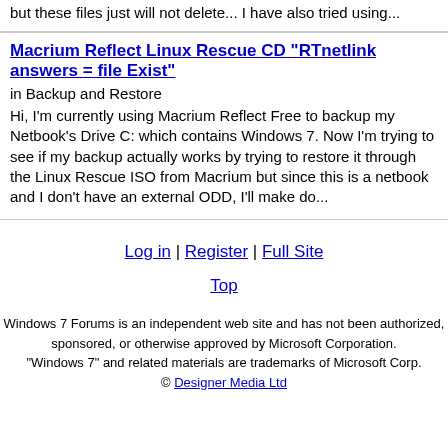but these files just will not delete... I have also tried using...
Macrium Reflect Linux Rescue CD "RTnetlink answers = file Exist"
in Backup and Restore
Hi, I'm currently using Macrium Reflect Free to backup my Netbook's Drive C: which contains Windows 7. Now I'm trying to see if my backup actually works by trying to restore it through the Linux Rescue ISO from Macrium but since this is a netbook and I don't have an external ODD, I'll make do...
Log in | Register | Full Site
Top
Windows 7 Forums is an independent web site and has not been authorized, sponsored, or otherwise approved by Microsoft Corporation. "Windows 7" and related materials are trademarks of Microsoft Corp. © Designer Media Ltd